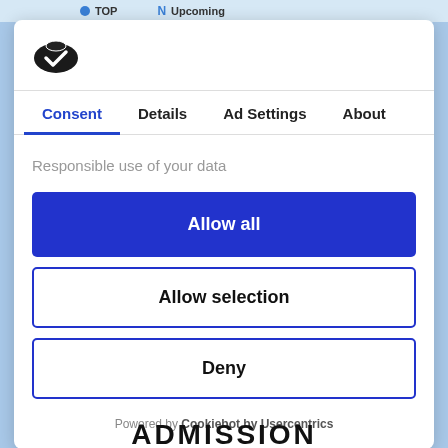TOP  Upcoming
[Figure (logo): Cookiebot logo - a cookie/shield icon in dark color]
Consent  Details  Ad Settings  About
Responsible use of your data
Allow all
Allow selection
Deny
Powered by Cookiebot by Usercentrics
ADMISSION